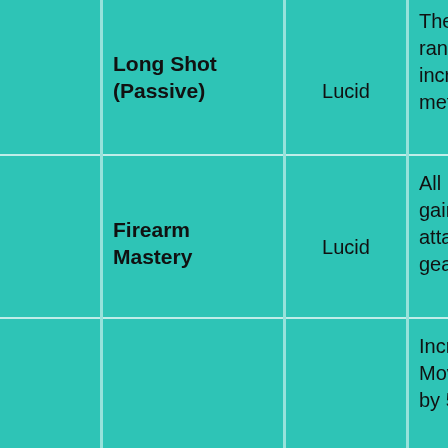|  | Ability | Type | Description |
| --- | --- | --- | --- |
|  | Long Shot (Passive) | Lucid | The range of all ranged attacks is increased by 1 meter |
|  | Firearm Mastery | Lucid | All ranged attacks gain 6% additional attack from your gear. |
|  |  | Lucid | Increases your Movement Speed by 50% and grants |